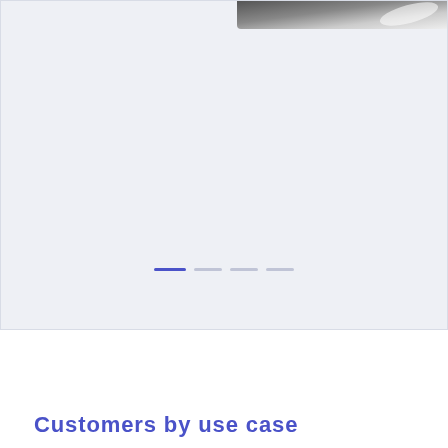[Figure (screenshot): Top section with light blue-grey background showing partial product screenshot at top right with pagination/slider dots at the bottom]
Customers by use case